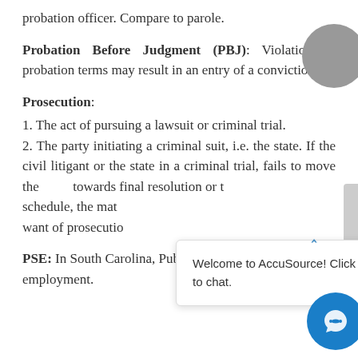probation officer. Compare to parole.
Probation Before Judgment (PBJ): Violation of probation terms may result in an entry of a conviction.
Prosecution:
1. The act of pursuing a lawsuit or criminal trial. 2. The party initiating a criminal suit, i.e. the state. If the civil litigant or the state in a criminal trial, fails to move the case towards final resolution or to comply with a scheduling schedule, the matter may be dismissed for want of prosecution.
PSE: In South Carolina, Public service employment.